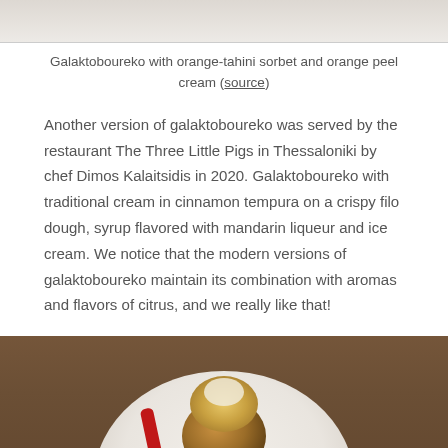[Figure (photo): Top portion of a food photo showing a white plate with galaktoboureko dessert, cropped at top of page]
Galaktoboureko with orange-tahini sorbet and orange peel cream (source)
Another version of galaktoboureko was served by the restaurant The Three Little Pigs in Thessaloniki by chef Dimos Kalaitsidis in 2020. Galaktoboureko with traditional cream in cinnamon tempura on a crispy filo dough, syrup flavored with mandarin liqueur and ice cream. We notice that the modern versions of galaktoboureko maintain its combination with aromas and flavors of citrus, and we really like that!
[Figure (photo): Photo of a galaktoboureko dessert on a white plate on a wooden table, showing a round pastry with golden filo dough on top and a red sauce accent]